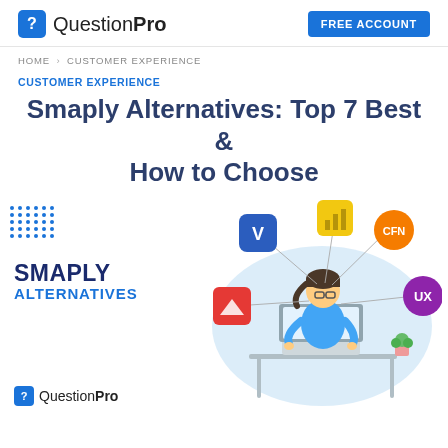QuestionPro | FREE ACCOUNT
HOME > CUSTOMER EXPERIENCE
CUSTOMER EXPERIENCE
Smaply Alternatives: Top 7 Best & How to Choose
[Figure (illustration): Illustration of a person sitting at a desk with a laptop, surrounded by icons representing software tools (Visio, Power BI, CFN, UX). Text reads SMAPLY ALTERNATIVES. QuestionPro logo at bottom left.]